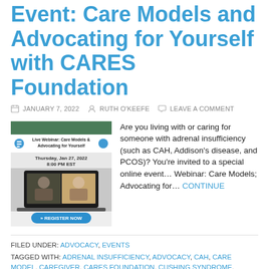Event: Care Models and Advocating for Yourself with CARES Foundation
JANUARY 7, 2022   RUTH O'KEEFE   LEAVE A COMMENT
[Figure (screenshot): Webinar promotional image showing 'Live Webinar: Care Models & Advocating for Yourself', Thursday Jan 27, 2022, 8:00 PM EST, with a REGISTER NOW button and a laptop showing two people on a video call.]
Are you living with or caring for someone with adrenal insufficiency (such as CAH, Addison's disease, and PCOS)? You're invited to a special online event… Webinar: Care Models; Advocating for… CONTINUE
FILED UNDER: ADVOCACY, EVENTS
TAGGED WITH: ADRENAL INSUFFICIENCY, ADVOCACY, CAH, CARE MODEL, CAREGIVER, CARES FOUNDATION, CUSHING SYNDROME,